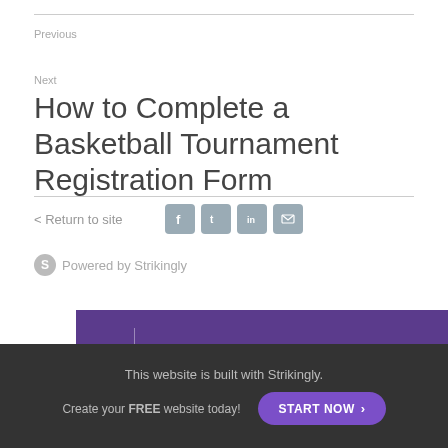Previous
Next
How to Complete a Basketball Tournament Registration Form
< Return to site
[Figure (infographic): Social media share icons: Facebook, Twitter, LinkedIn, Email]
Powered by Strikingly
[Figure (infographic): Purple banner with dropdown arrow, vertical divider, text CREATE A SITE WITH strikingly]
This website is built with Strikingly.
Create your FREE website today!
START NOW >